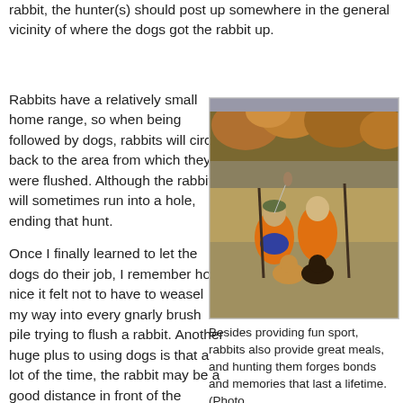rabbit, the hunter(s) should post up somewhere in the general vicinity of where the dogs got the rabbit up.
Rabbits have a relatively small home range, so when being followed by dogs, rabbits will circle back to the area from which they were flushed. Although the rabbits will sometimes run into a hole, ending that hunt.
Once I finally learned to let the dogs do their job, I remember how nice it felt not to have to weasel my way into every gnarly brush pile trying to flush a rabbit. Another huge plus to using dogs is that a lot of the time, the rabbit may be a good distance in front of the dog(s), loping along at a slow pace, sometimes even
[Figure (photo): Two hunters in orange safety vests sitting in an autumn field with two beagle dogs and rifles, trees with fall foliage in background]
Besides providing fun sport, rabbits also provide great meals, and hunting them forges bonds and memories that last a lifetime. (Photo